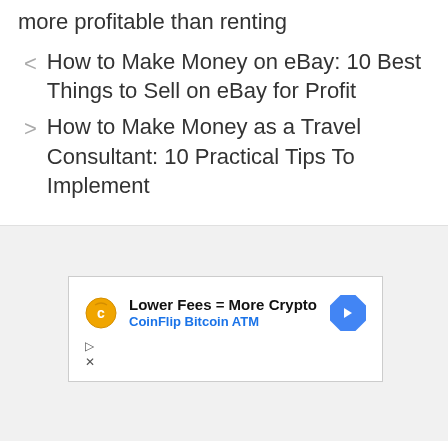more profitable than renting
How to Make Money on eBay: 10 Best Things to Sell on eBay for Profit
How to Make Money as a Travel Consultant: 10 Practical Tips To Implement
[Figure (other): Advertisement banner for CoinFlip Bitcoin ATM. Shows coin logo on left, text 'Lower Fees = More Crypto' in bold and 'CoinFlip Bitcoin ATM' in blue below, and a blue diamond-shaped arrow icon on the right. Play and close controls visible at bottom left.]